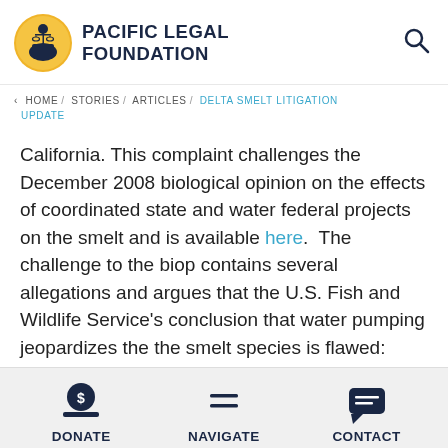PACIFIC LEGAL FOUNDATION
< HOME / STORIES / ARTICLES / DELTA SMELT LITIGATION UPDATE
California. This complaint challenges the December 2008 biological opinion on the effects of coordinated state and water federal projects on the smelt and is available here. The challenge to the biop contains several allegations and argues that the U.S. Fish and Wildlife Service's conclusion that water pumping jeopardizes the the smelt species is flawed:
DONATE  NAVIGATE  CONTACT